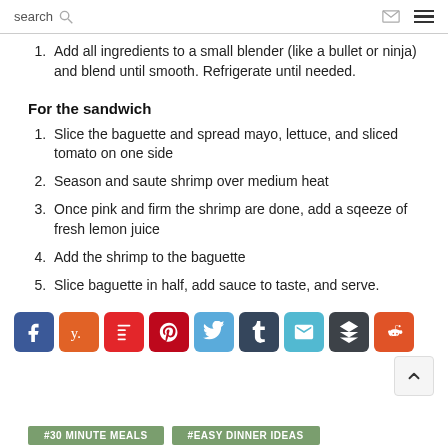search
Add all ingredients to a small blender (like a bullet or ninja) and blend until smooth. Refrigerate until needed.
For the sandwich
Slice the baguette and spread mayo, lettuce, and sliced tomato on one side
Season and saute shrimp over medium heat
Once pink and firm the shrimp are done, add a sqeeze of fresh lemon juice
Add the shrimp to the baguette
Slice baguette in half, add sauce to taste, and serve.
[Figure (other): Social sharing buttons: Facebook, Yummly, Flipboard, Pinterest, Twitter, Tumblr, Email, Buffer, Reddit]
#30 MINUTE MEALS   #EASY DINNER IDEAS